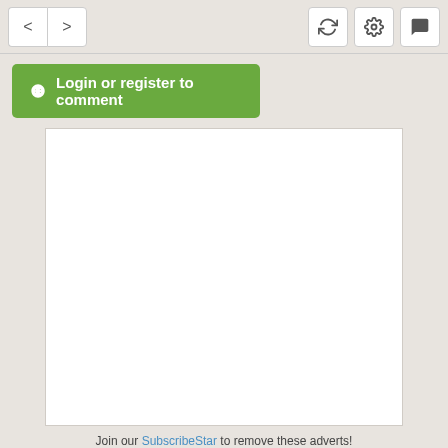< > [refresh] [settings] [comment]
Login or register to comment
[Figure (other): Empty white advertisement box placeholder]
Join our SubscribeStar to remove these adverts!
Stats